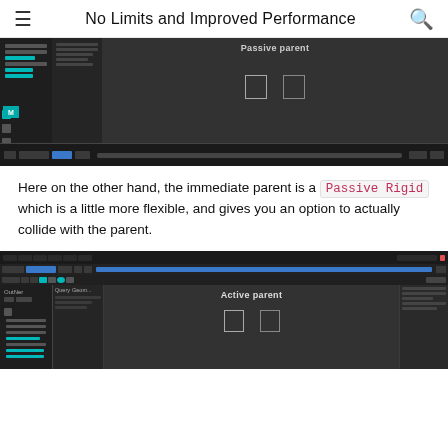No Limits and Improved Performance
[Figure (screenshot): Dark-themed 3D/animation software showing 'Passive parent' label in viewport with two small rectangular objects and a left panel with scene hierarchy]
Here on the other hand, the immediate parent is a Passive Rigid which is a little more flexible, and gives you an option to actually collide with the parent.
[Figure (screenshot): Dark-themed 3D/animation software showing 'Active parent' label in viewport with two small rectangular objects and a left panel with scene hierarchy]